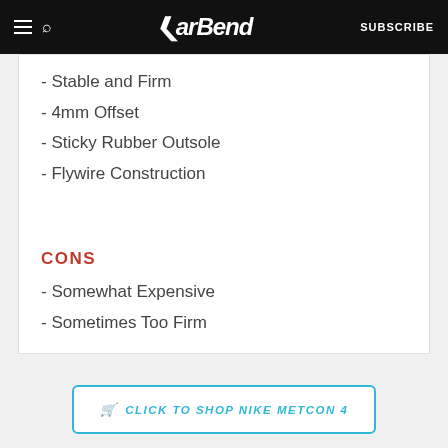BarBend  SUBSCRIBE
- Stable and Firm
- 4mm Offset
- Sticky Rubber Outsole
- Flywire Construction
CONS
- Somewhat Expensive
- Sometimes Too Firm
CLICK TO SHOP NIKE METCON 4